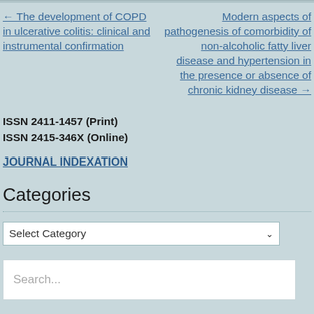← The development of COPD in ulcerative colitis: clinical and instrumental confirmation
Modern aspects of pathogenesis of comorbidity of non-alcoholic fatty liver disease and hypertension in the presence or absence of chronic kidney disease →
ISSN 2411-1457 (Print)
ISSN 2415-346X (Online)
JOURNAL INDEXATION
Categories
Select Category
Search...